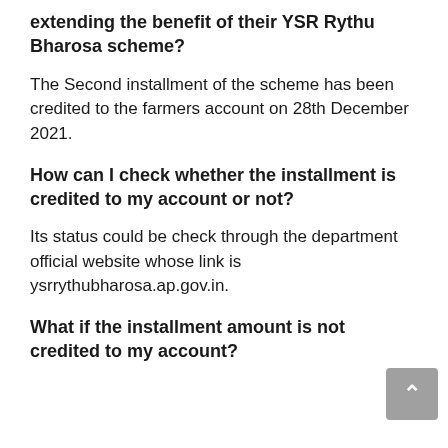extending the benefit of their YSR Rythu Bharosa scheme?
The Second installment of the scheme has been credited to the farmers account on 28th December 2021.
How can I check whether the installment is credited to my account or not?
Its status could be check through the department official website whose link is ysrrythubharosa.ap.gov.in.
What if the installment amount is not credited to my account?